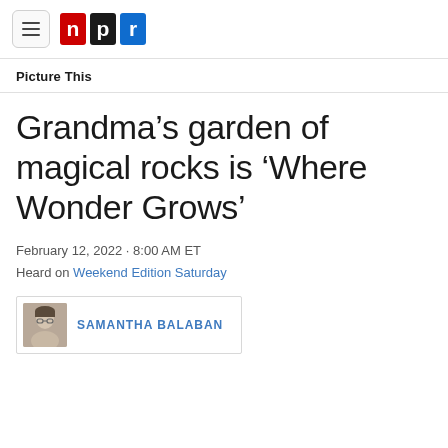NPR logo and navigation menu
Picture This
Grandma’s garden of magical rocks is ‘Where Wonder Grows’
February 12, 2022 · 8:00 AM ET
Heard on Weekend Edition Saturday
SAMANTHA BALABAN